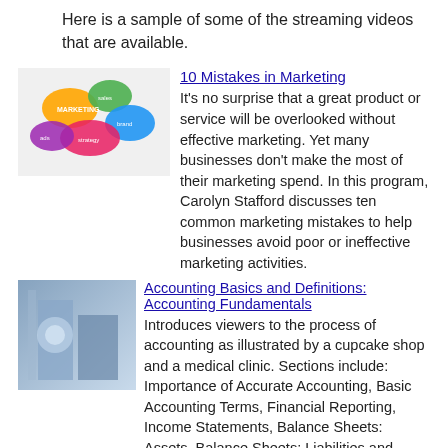Here is a sample of some of the streaming videos that are available.
[Figure (illustration): Colorful marketing speech bubble icons]
10 Mistakes in Marketing
It's no surprise that a great product or service will be overlooked without effective marketing. Yet many businesses don't make the most of their marketing spend. In this program, Carolyn Stafford discusses ten common marketing mistakes to help businesses avoid poor or ineffective marketing activities.
[Figure (photo): Blue toned accounting/finance image]
Accounting Basics and Definitions: Accounting Fundamentals
Introduces viewers to the process of accounting as illustrated by a cupcake shop and a medical clinic. Sections include: Importance of Accurate Accounting, Basic Accounting Terms, Financial Reporting, Income Statements, Balance Sheets: Assets, Balance Sheets: Liabilities and Owner Equity, and Statements of Cash Flows.
[Figure (photo): Branded text image with black and red background]
Branded: Personal Identity Through Consumer Products
This program updates the philosophy of branding, a practice that has evolved to define personal identity through a product line, a lifestyle, or simply a concept.
[Figure (photo): Dark photo for Danger Behind Closed Doors]
Danger Behind Closed Doors: Hidden Agendas and Power Plays